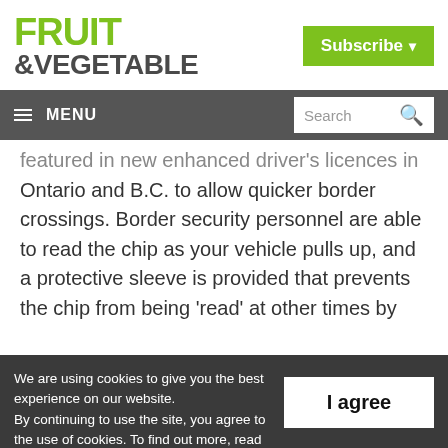FRUIT &VEGETABLE
Subscribe
≡ MENU  Search
featured in new enhanced driver's licences in Ontario and B.C. to allow quicker border crossings. Border security personnel are able to read the chip as your vehicle pulls up, and a protective sleeve is provided that prevents the chip from being 'read' at other times by
We are using cookies to give you the best experience on our website. By continuing to use the site, you agree to the use of cookies. To find out more, read our privacy policy.
I agree